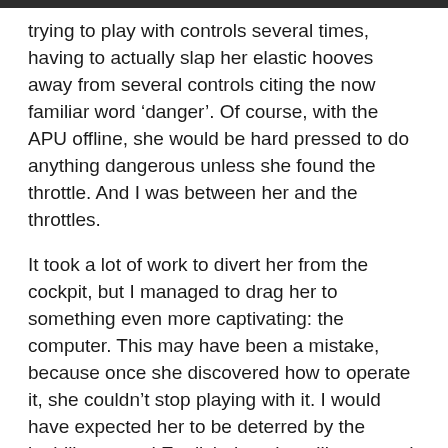trying to play with controls several times, having to actually slap her elastic hooves away from several controls citing the now familiar word ‘danger’. Of course, with the APU offline, she would be hard pressed to do anything dangerous unless she found the throttle. And I was between her and the throttles.
It took a lot of work to divert her from the cockpit, but I managed to drag her to something even more captivating: the computer. This may have been a mistake, because once she discovered how to operate it, she couldn’t stop playing with it. I would have expected her to be deterred by the inability to read English, but she still managed to learn how to navigate the core menus through trial and error.
[partial text cut off at bottom]